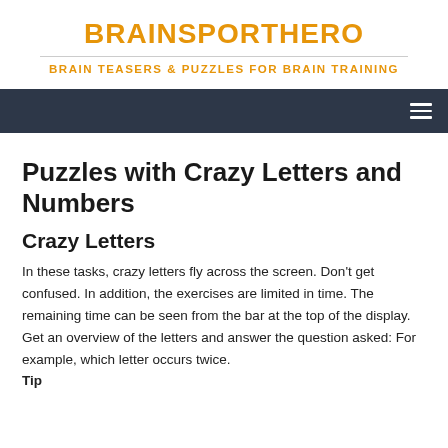BRAINSPORTHERO
BRAIN TEASERS & PUZZLES FOR BRAIN TRAINING
Puzzles with Crazy Letters and Numbers
Crazy Letters
In these tasks, crazy letters fly across the screen. Don't get confused. In addition, the exercises are limited in time. The remaining time can be seen from the bar at the top of the display. Get an overview of the letters and answer the question asked: For example, which letter occurs twice.
Tip